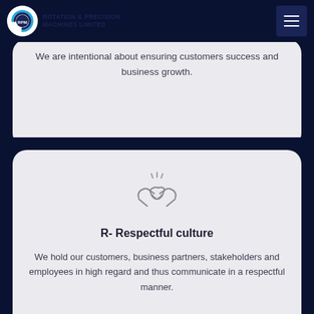ROTATION & PRECISION MACHINES LIMITED
We are intentional about ensuring customers success and business growth.
[Figure (illustration): Handshake icon with radiating lines above, indicating partnership or agreement]
R- Respectful culture
We hold our customers, business partners, stakeholders and employees in high regard and thus communicate in a respectful manner.